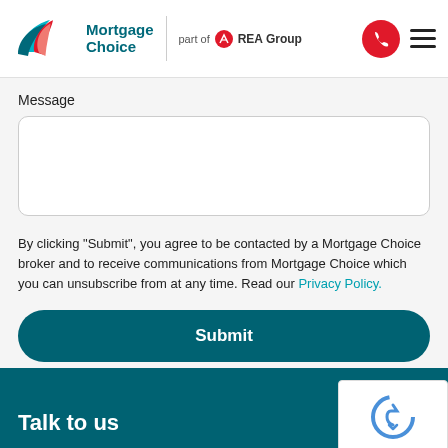[Figure (logo): Mortgage Choice logo with teal and red leaf design, text 'Mortgage Choice', tagline 'part of REA Group']
Message
By clicking "Submit", you agree to be contacted by a Mortgage Choice broker and to receive communications from Mortgage Choice which you can unsubscribe from at any time. Read our Privacy Policy.
Submit
[Figure (other): reCAPTCHA widget showing puzzle icon and Privacy - Terms links]
Talk to us